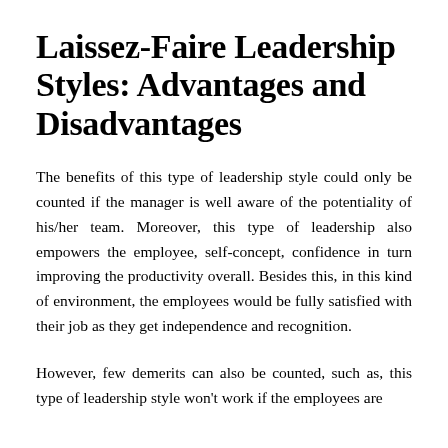Laissez-Faire Leadership Styles: Advantages and Disadvantages
The benefits of this type of leadership style could only be counted if the manager is well aware of the potentiality of his/her team. Moreover, this type of leadership also empowers the employee, self-concept, confidence in turn improving the productivity overall. Besides this, in this kind of environment, the employees would be fully satisfied with their job as they get independence and recognition.
However, few demerits can also be counted, such as, this type of leadership style won't work if the employees are